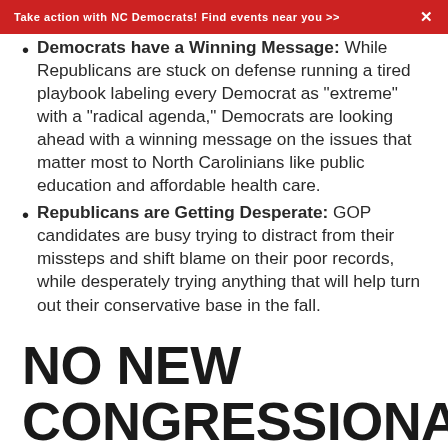Take action with NC Democrats! Find events near you >>
Democrats have a Winning Message: While Republicans are stuck on defense running a tired playbook labeling every Democrat as “extreme” with a “radical agenda,” Democrats are looking ahead with a winning message on the issues that matter most to North Carolinians like public education and affordable health care.
Republicans are Getting Desperate: GOP candidates are busy trying to distract from their missteps and shift blame on their poor records, while desperately trying anything that will help turn out their conservative base in the fall.
NO NEW CONGRESSIONAL